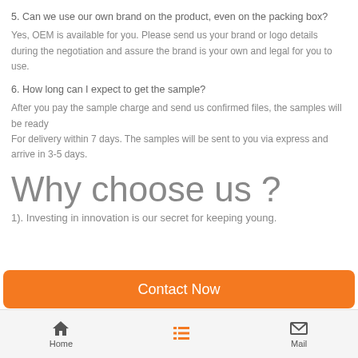5. Can we use our own brand on the product, even on the packing box?
Yes, OEM is available for you. Please send us your brand or logo details during the negotiation and assure the brand is your own and legal for you to use.
6. How long can I expect to get the sample?
After you pay the sample charge and send us confirmed files, the samples will be ready
For delivery within 7 days. The samples will be sent to you via express and arrive in 3-5 days.
Why choose us ?
1). Investing in innovation is our secret for keeping young.
[Figure (other): Orange 'Contact Now' button]
Home | (list icon) | Mail